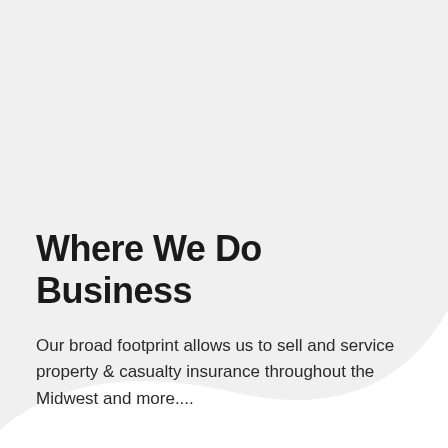[Figure (illustration): Large light gray curved/wave shape filling the upper portion of the page, transitioning from gray at the top to white at the bottom, creating a decorative background element.]
Where We Do Business
Our broad footprint allows us to sell and service property & casualty insurance throughout the Midwest and more....